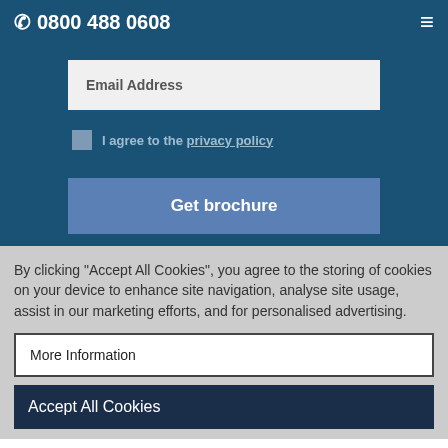0800 488 0608
Email Address
I agree to the privacy policy
Get brochure
By clicking "Accept All Cookies", you agree to the storing of cookies on your device to enhance site navigation, analyse site usage, assist in our marketing efforts, and for personalised advertising.
More Information
Accept All Cookies